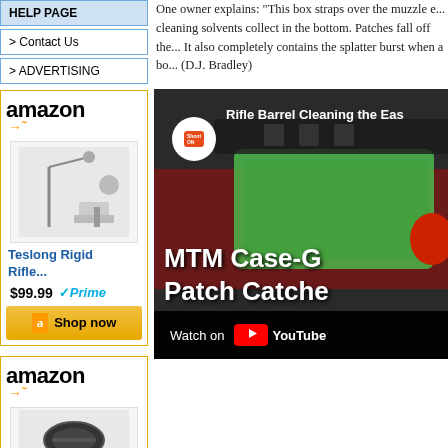HELP PAGE
> Contact Us
> ADVERTISING
[Figure (other): Amazon product advertisement for Teslong Rigid Rifle... $99.99 with Prime badge and Shop now button]
[Figure (other): Second Amazon advertisement box with product image]
One owner explains: "This box straps over the muzzle e... cleaning solvents collect in the bottom. Patches fall off the... It also completely contains the splatter burst when a bo... (D.J. Bradley)
[Figure (screenshot): YouTube video thumbnail: ShootON - Rifle Barrel Cleaning the Easy Way. Shows MTM Case-G... Patch Catche... with green plastic accessory on rifle. Watch on YouTube button at bottom.]